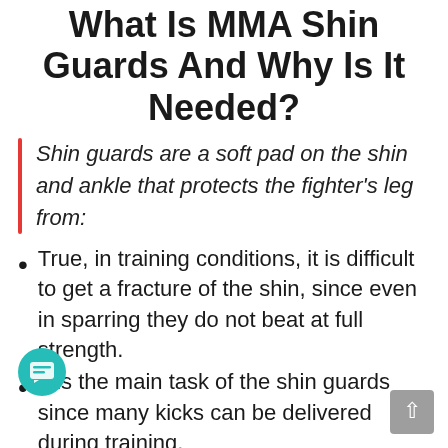What Is MMA Shin Guards And Why Is It Needed?
Shin guards are a soft pad on the shin and ankle that protects the fighter's leg from:
True, in training conditions, it is difficult to get a fracture of the shin, since even in sparring they do not beat at full strength.
It is the main task of the shin guards since many kicks can be delivered during training.
Sprained or dislocated ankle ligaments.